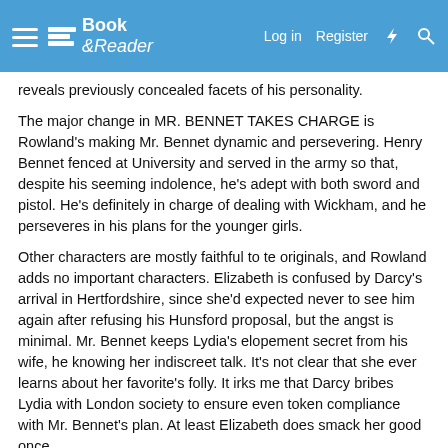Book & Reader — Log in  Register
reveals previously concealed facets of his personality.
The major change in MR. BENNET TAKES CHARGE is Rowland's making Mr. Bennet dynamic and persevering. Henry Bennet fenced at University and served in the army so that, despite his seeming indolence, he's adept with both sword and pistol. He's definitely in charge of dealing with Wickham, and he perseveres in his plans for the younger girls.
Other characters are mostly faithful to te originals, and Rowland adds no important characters. Elizabeth is confused by Darcy's arrival in Hertfordshire, since she'd expected never to see him again after refusing his Hunsford proposal, but the angst is minimal. Mr. Bennet keeps Lydia's elopement secret from his wife, he knowing her indiscreet talk. It's not clear that she ever learns about her favorite's folly. It irks me that Darcy bribes Lydia with London society to ensure even token compliance with Mr. Bennet's plan. At least Elizabeth does smack her good once.
MR. BENNET TAKES CHARGE is well-written, offering